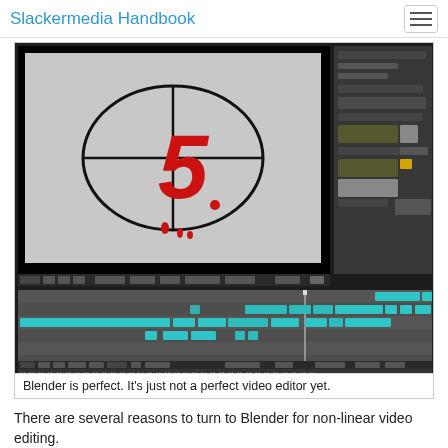Slackermedia Handbook
[Figure (screenshot): Blender video editor screenshot showing a countdown number '5' on a gray background with targeting crosshair and black oval, alongside a file browser panel and a multi-track video sequence editor timeline below.]
Blender is perfect. It's just not a perfect video editor yet.
There are several reasons to turn to Blender for non-linear video editing.